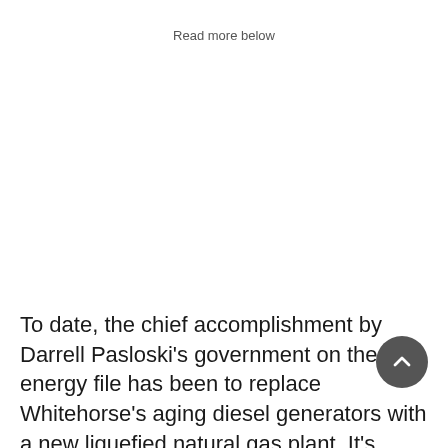Read more below
To date, the chief accomplishment by Darrell Pasloski's government on the energy file has been to replace Whitehorse's aging diesel generators with a new liquefied natural gas plant. It's hoped that the plant will help